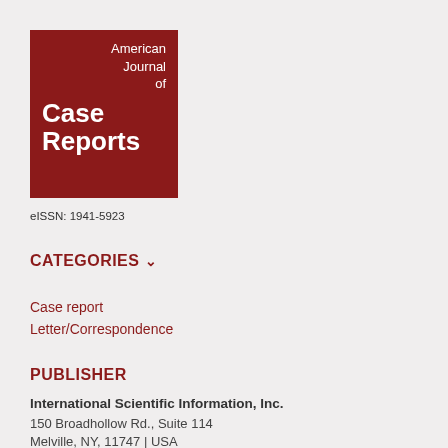[Figure (logo): American Journal of Case Reports logo — dark red square with white text: 'American Journal of' in regular weight and 'Case Reports' in bold large font]
eISSN: 1941-5923
CATEGORIES ∨
Case report
Letter/Correspondence
PUBLISHER
International Scientific Information, Inc.
150 Broadhollow Rd., Suite 114
Melville, NY, 11747 | USA